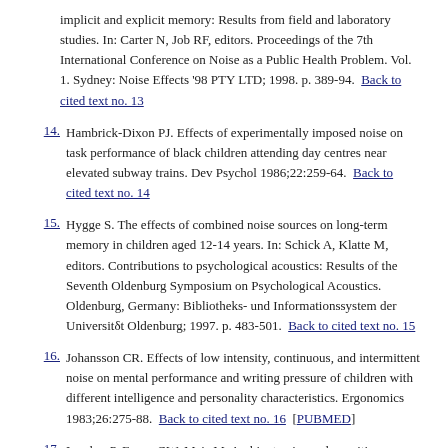implicit and explicit memory: Results from field and laboratory studies. In: Carter N, Job RF, editors. Proceedings of the 7th International Conference on Noise as a Public Health Problem. Vol. 1. Sydney: Noise Effects '98 PTY LTD; 1998. p. 389-94.  Back to cited text no. 13
14. Hambrick-Dixon PJ. Effects of experimentally imposed noise on task performance of black children attending day centres near elevated subway trains. Dev Psychol 1986;22:259-64.  Back to cited text no. 14
15. Hygge S. The effects of combined noise sources on long-term memory in children aged 12-14 years. In: Schick A, Klatte M, editors. Contributions to psychological acoustics: Results of the Seventh Oldenburg Symposium on Psychological Acoustics. Oldenburg, Germany: Bibliotheks- und Informationssystem der Universitδt Oldenburg; 1997. p. 483-501.  Back to cited text no. 15
16. Johansson CR. Effects of low intensity, continuous, and intermittent noise on mental performance and writing pressure of children with different intelligence and personality characteristics. Ergonomics 1983;26:275-88.  Back to cited text no. 16  [PUBMED]
17. Lercher P, Evans GW, Meis M. Ambient noise and cognitive processesamong